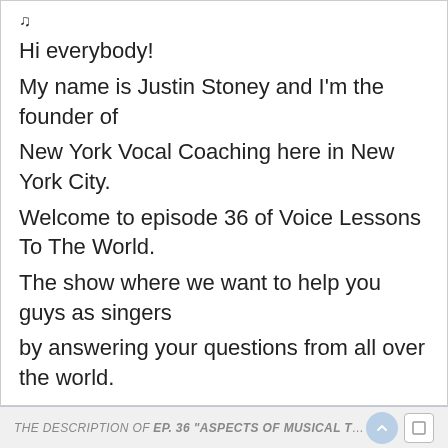♩
Hi everybody!
My name is Justin Stoney and I'm the founder of
New York Vocal Coaching here in New York City.
Welcome to episode 36 of Voice Lessons To The World.
The show where we want to help you guys as singers
by answering your questions from all over the world.
And I'll give you a chance to ask questions
THE DESCRIPTION OF EP. 36 "ASPECTS OF MUSICAL TH...